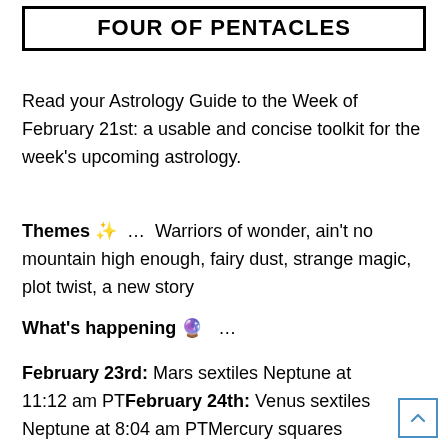FOUR OF PENTACLES
Read your Astrology Guide to the Week of February 21st: a usable and concise toolkit for the week's upcoming astrology.
Themes ✨ …  Warriors of wonder, ain't no mountain high enough, fairy dust, strange magic, plot twist, a new story
What's happening 🔮  …
February 23rd: Mars sextiles Neptune at 11:12 am PTFebruary 24th: Venus sextiles Neptune at 8:04 am PTMercury squares Uranus at 6:22 pm PT